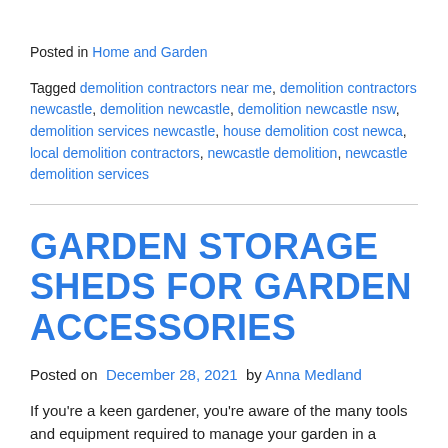Posted in Home and Garden
Tagged demolition contractors near me, demolition contractors newcastle, demolition newcastle, demolition newcastle nsw, demolition services newcastle, house demolition cost newca, local demolition contractors, newcastle demolition, newcastle demolition services
GARDEN STORAGE SHEDS FOR GARDEN ACCESSORIES
Posted on December 28, 2021 by Anna Medland
If you're a keen gardener,  you're aware of the many tools and equipment required to manage your garden in a